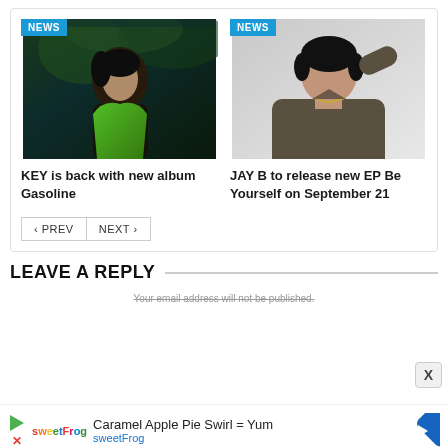[Figure (photo): News card with two items: left shows K-pop artist KEY with dark forest background and NEWS badge; right shows JAY B with grey background and NEWS badge]
KEY is back with new album Gasoline
JAY B to release new EP Be Yourself on September 21
< PREV   NEXT >
LEAVE A REPLY
Your email address will not be published.
[Figure (infographic): Advertisement bar: sweetFrog logo with play icon and X, text 'Caramel Apple Pie Swirl = Yum' and 'sweetFrog', with blue diamond arrow icon on right]